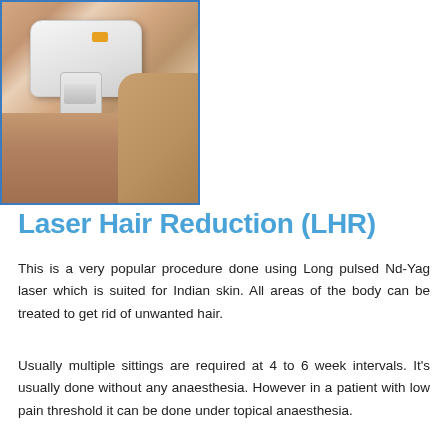[Figure (photo): Photo of a medical professional performing laser hair reduction treatment on a patient's skin using a handheld laser device.]
Laser Hair Reduction (LHR)
This is a very popular procedure done using Long pulsed Nd-Yag laser which is suited for Indian skin. All areas of the body can be treated to get rid of unwanted hair.
Usually multiple sittings are required at 4 to 6 week intervals. It's usually done without any anaesthesia. However in a patient with low pain threshold it can be done under topical anaesthesia.